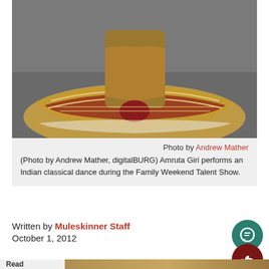[Figure (photo): Close-up photograph of Indian classical dance costume feet/skirt with gold and red fabric on a grey floor]
Photo by Andrew Mather
(Photo by Andrew Mather, digitalBURG) Amruta Giri performs an Indian classical dance during the Family Weekend Talent Show.
Written by Muleskinner Staff
October 1, 2012
[Figure (photo): Partial bottom image showing another photo, partially cropped, with 'Read this' text overlay]